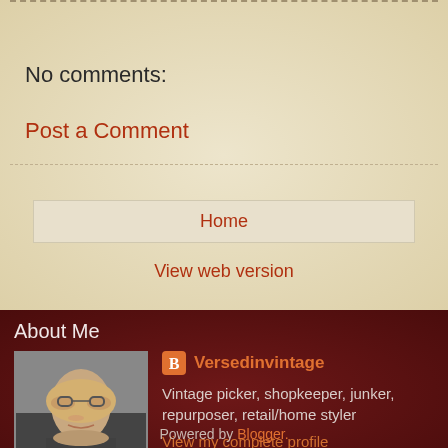No comments:
Post a Comment
Home
View web version
About Me
[Figure (photo): Profile photo of a woman with glasses and blonde hair]
Versedinvintage
Vintage picker, shopkeeper, junker, repurposer, retail/home styler
View my complete profile
Powered by Blogger.